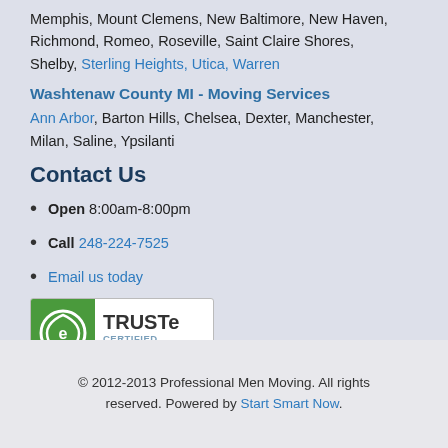Memphis, Mount Clemens, New Baltimore, New Haven, Richmond, Romeo, Roseville, Saint Claire Shores, Shelby, Sterling Heights, Utica, Warren
Washtenaw County MI - Moving Services
Ann Arbor, Barton Hills, Chelsea, Dexter, Manchester, Milan, Saline, Ypsilanti
Contact Us
Open 8:00am-8:00pm
Call 248-224-7525
Email us today
[Figure (logo): TRUSTe Certified Privacy badge with green icon and text]
© 2012-2013 Professional Men Moving. All rights reserved. Powered by Start Smart Now.